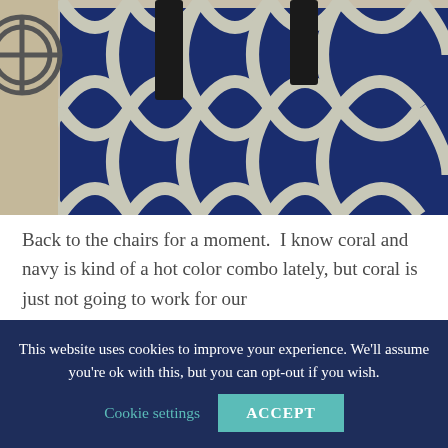[Figure (photo): Close-up photo of a navy blue and white geometric trellis/moroccan pattern rug with black furniture legs visible at the top]
Back to the chairs for a moment.  I know coral and navy is kind of a hot color combo lately, but coral is just not going to work for our
This website uses cookies to improve your experience. We'll assume you're ok with this, but you can opt-out if you wish. Cookie settings ACCEPT